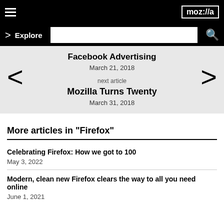moz://a
Explore
Facebook Advertising
March 21, 2018
next article
Mozilla Turns Twenty
March 31, 2018
More articles in "Firefox"
Celebrating Firefox: How we got to 100
May 3, 2022
Modern, clean new Firefox clears the way to all you need online
June 1, 2021